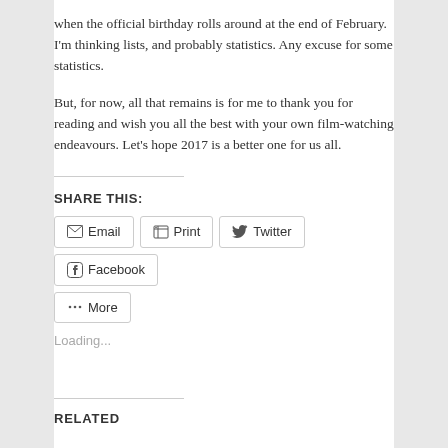when the official birthday rolls around at the end of February. I'm thinking lists, and probably statistics. Any excuse for some statistics.
But, for now, all that remains is for me to thank you for reading and wish you all the best with your own film-watching endeavours. Let's hope 2017 is a better one for us all.
SHARE THIS:
Email  Print  Twitter  Facebook  More
Loading...
RELATED